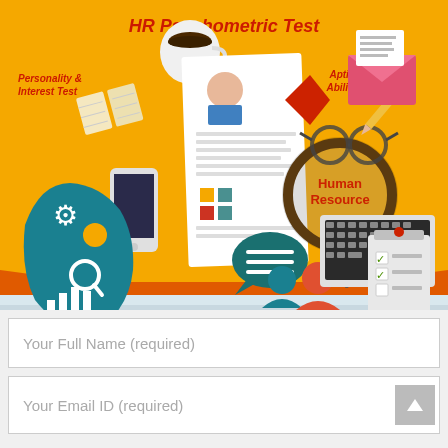[Figure (infographic): HR Psychometric Test infographic banner with yellow/orange background. Shows a resume with magnifying glass labeled 'Human Resource', surrounded by icons: coffee cup, open book, smartphone, glasses, pencil, envelope, clipboard. Person holding magnifying glass over resume. Left side shows teal human head with gear/brain icon. Right side shows laptop and checklist clipboard. Bottom shows two people figures with speech bubbles. Text labels: 'Personality & Interest Test', 'Aptitude & Ability Test', 'Right Skills', 'Right Attitude', 'Right for Role'.]
HR Psychometric Test
Personality & Interest Test
Aptitude & Ability Test
Human Resource
Right Skills
Right Attitude
Right for Role
Your Full Name (required)
Your Email ID (required)